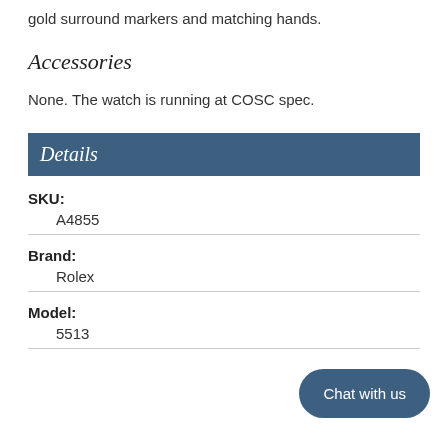gold surround markers and matching hands.
Accessories
None. The watch is running at COSC spec.
Details
SKU:
A4855
Brand:
Rolex
Model:
5513